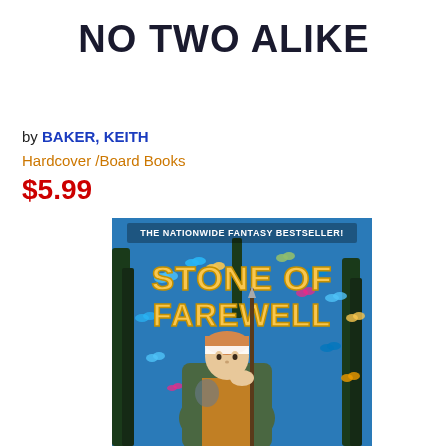NO TWO ALIKE
by BAKER, KEITH
Hardcover /Board Books
$5.99
[Figure (photo): Book cover of 'Stone of Farewell' — a fantasy novel showing a young person in a green cloak holding a staff/spear, surrounded by colorful butterflies on blue background. Text reads 'THE NATIONWIDE FANTASY BESTSELLER! STONE OF FAREWELL']